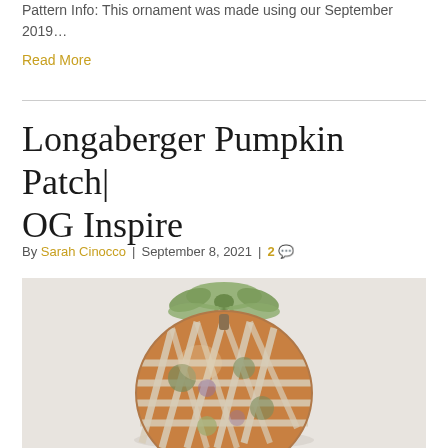Pattern Info: This ornament was made using our September 2019…
Read More
Longaberger Pumpkin Patch| OG Inspire
By Sarah Cinocco | September 8, 2021 | 2
[Figure (photo): A decorative quilted pumpkin ornament with fabric patchwork in orange, green, and neutral tones, topped with a green ribbon bow, photographed on a light surface.]